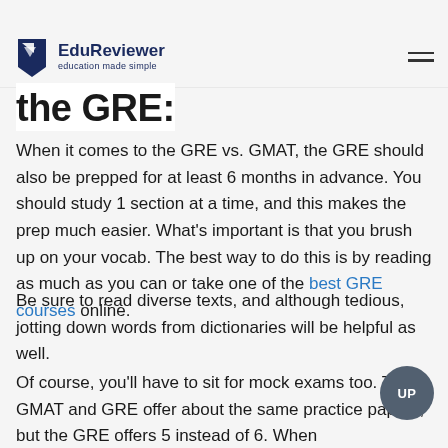EduReviewer — education made simple
the GRE:
When it comes to the GRE vs. GMAT, the GRE should also be prepped for at least 6 months in advance. You should study 1 section at a time, and this makes the prep much easier. What's important is that you brush up on your vocab. The best way to do this is by reading as much as you can or take one of the best GRE courses online.
Be sure to read diverse texts, and although tedious, jotting down words from dictionaries will be helpful as well.
Of course, you'll have to sit for mock exams too. The GMAT and GRE offer about the same practice papers, but the GRE offers 5 instead of 6. When